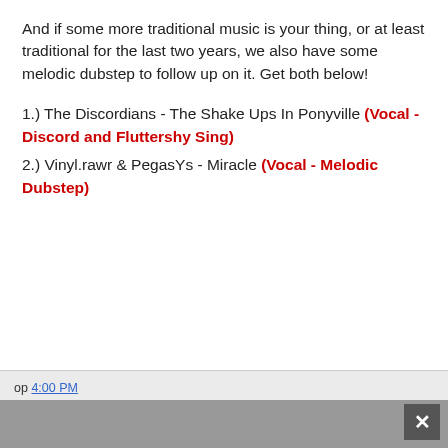And if some more traditional music is your thing, or at least traditional for the last two years, we also have some melodic dubstep to follow up on it. Get both below!
1.) The Discordians - The Shake Ups In Ponyville (Vocal - Discord and Fluttershy Sing)
2.) Vinyl.rawr & PegasYs - Miracle (Vocal - Melodic Dubstep)
op 4:00 PM
Labels: Acoustic, Dubstep, Media, Music, Music: Vocal, Not-Fanfiction, Parody
Open in app